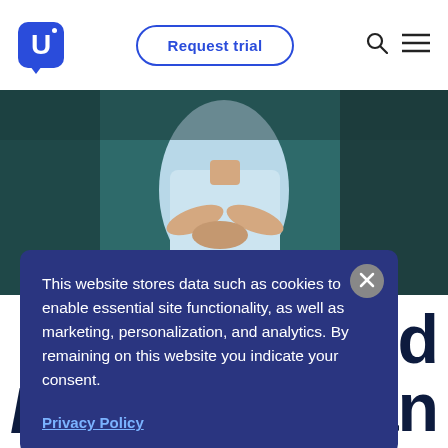[Figure (logo): U-shaped speech bubble logo in blue]
Request trial
[Figure (photo): Person in light blue shirt with arms crossed, teal/dark background]
uld
an
Insights
This website stores data such as cookies to enable essential site functionality, as well as marketing, personalization, and analytics. By remaining on this website you indicate your consent.
Privacy Policy